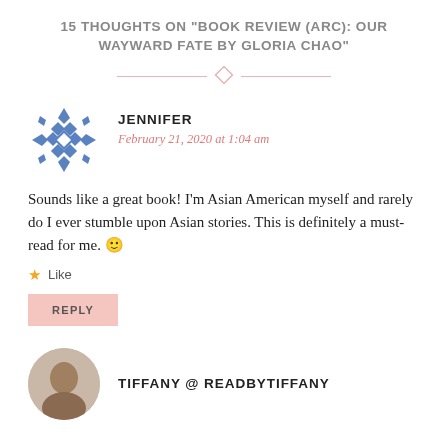15 THOUGHTS ON "BOOK REVIEW (ARC): OUR WAYWARD FATE BY GLORIA CHAO"
[Figure (illustration): Decorative divider: two horizontal pink lines with a pink diamond shape in the center]
[Figure (illustration): Blue geometric snowflake/mandala avatar icon for commenter Jennifer]
JENNIFER
February 21, 2020 at 1:04 am
Sounds like a great book! I'm Asian American myself and rarely do I ever stumble upon Asian stories. This is definitely a must-read for me. 🙂
Like
REPLY
[Figure (photo): Circular photo avatar of Tiffany @ ReadByTiffany, partially visible at bottom of page]
TIFFANY @ READBYTIFFANY